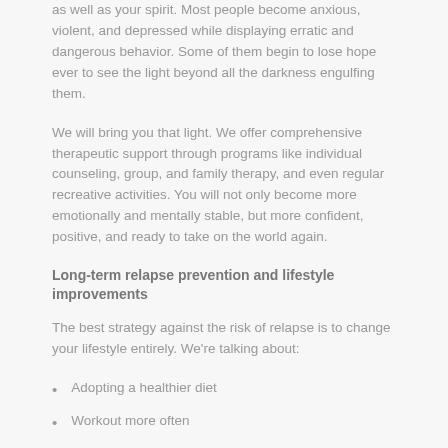as well as your spirit. Most people become anxious, violent, and depressed while displaying erratic and dangerous behavior. Some of them begin to lose hope ever to see the light beyond all the darkness engulfing them.
We will bring you that light. We offer comprehensive therapeutic support through programs like individual counseling, group, and family therapy, and even regular recreative activities. You will not only become more emotionally and mentally stable, but more confident, positive, and ready to take on the world again.
Long-term relapse prevention and lifestyle improvements
The best strategy against the risk of relapse is to change your lifestyle entirely. We're talking about:
Adopting a healthier diet
Workout more often
Become more socially involved